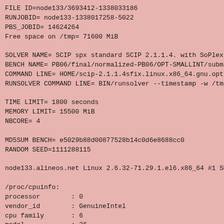FILE ID=node133/3693412-1338033186
RUNJOBID= node133-1338017258-5022
PBS_JOBID= 14624264
Free space on /tmp= 71600 MiB

SOLVER NAME= SCIP spx standard SCIP 2.1.1.4. with SoPlex 1.6.
BENCH NAME= PB06/final/normalized-PB06/OPT-SMALLINT/submitted
COMMAND LINE= HOME/scip-2.1.1.4sfix.linux.x86_64.gnu.opt.spx
RUNSOLVER COMMAND LINE= BIN/runsolver --timestamp -w /tmp/eva

TIME LIMIT= 1800 seconds
MEMORY LIMIT= 15500 MiB
NBCORE= 4

MD5SUM BENCH= e5029b88d00877528b14c0d6e8688cc0
RANDOM SEED=1111288115

node133.alineos.net Linux 2.6.32-71.29.1.el6.x86_64 #1 SMP Mo

/proc/cpuinfo:
processor        : 0
vendor_id        : GenuineIntel
cpu family       : 6
model            : 26
model name       : Intel(R) Xeon(R) CPU          X5550  @ 2.6
stepping         : 5
cpu MHz          : 2666.540
cache size       : 8192 KB
physical id      : 0
siblings         : 4
core id          : 0
cpu cores        : 4